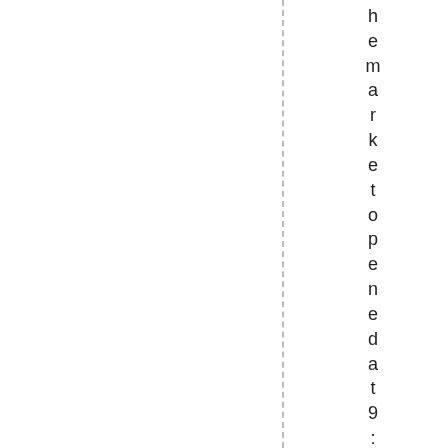he market opened at 9:30amET .the ma